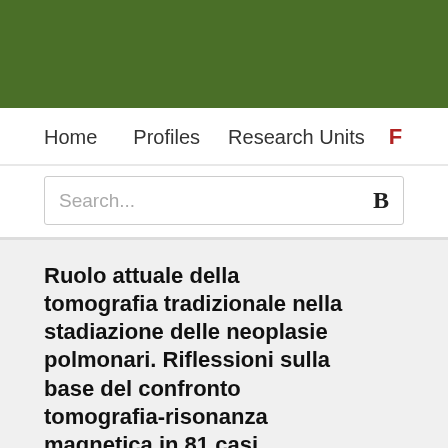Home   Profiles   Research Units   F
Search...
Ruolo attuale della tomografia tradizionale nella stadiazione delle neoplasie polmonari. Riflessioni sulla base del confronto tomografia-risonanza magnetica in 81 casi.
Translated title of the contribution: Current role of conventional tomography in the staging of pulmonary neoplasms. Reflections based on the comparison of tomography-magnetic resonance in 81 cases